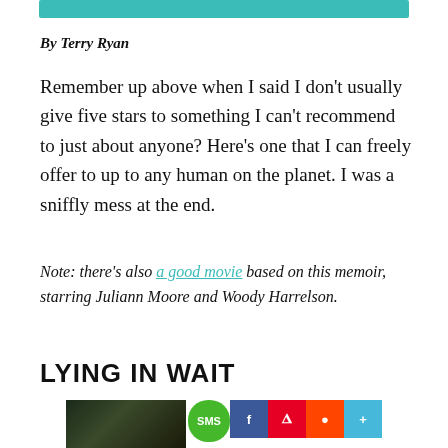[Figure (other): Teal horizontal bar at top of page]
By Terry Ryan
Remember up above when I said I don't usually give five stars to something I can't recommend to just about anyone? Here's one that I can freely offer to up to any human on the planet. I was a sniffly mess at the end.
Note: there's also a good movie based on this memoir, starring Juliann Moore and Woody Harrelson.
LYING IN WAIT
[Figure (photo): Partial view of a book cover with plant/ivy imagery, alongside social sharing icons: SMS (green), Facebook (blue), Pinterest (red), Reddit (orange-red), and a plus/share button (blue).]